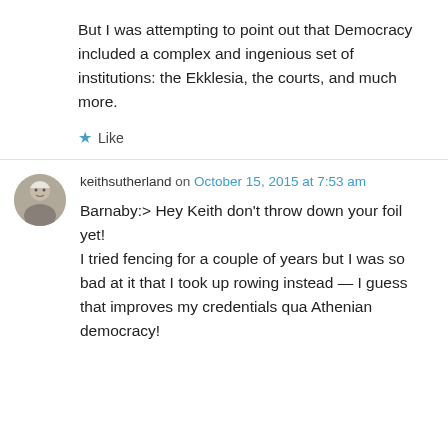But I was attempting to point out that Democracy included a complex and ingenious set of institutions: the Ekklesia, the courts, and much more.
★ Like
keithsutherland on October 15, 2015 at 7:53 am
Barnaby:> Hey Keith don't throw down your foil yet!
I tried fencing for a couple of years but I was so bad at it that I took up rowing instead — I guess that improves my credentials qua Athenian democracy!